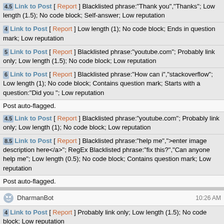4.5 Link to Post [ Report ] Blacklisted phrase:"Thank you","Thanks"; Low length (1.5); No code block; Self-answer; Low reputation
4 Link to Post [ Report ] Low length (1); No code block; Ends in question mark; Low reputation
5 Link to Post [ Report ] Blacklisted phrase:"youtube.com"; Probably link only; Low length (1.5); No code block; Low reputation
6 Link to Post [ Report ] Blacklisted phrase:"How can i","stackoverflow"; Low length (1); No code block; Contains question mark; Starts with a question:"Did you "; Low reputation
Post auto-flagged.
4.5 Link to Post [ Report ] Blacklisted phrase:"youtube.com"; Probably link only; Low length (1); No code block; Low reputation
8.5 Link to Post [ Report ] Blacklisted phrase:"help me",">enter image description here</a>"; RegEx Blacklisted phrase:"fix this?","Can anyone help me"; Low length (0.5); No code block; Contains question mark; Low reputation
Post auto-flagged.
DharmanBot  10:26 AM
4 Link to Post [ Report ] Probably link only; Low length (1.5); No code block; Low reputation
4 Link to Post [ Report ] Low length (1); No code block; Ends in question mark; Low reputation
4 Link to Post [ Report ] Probably link only; Low length (1); No code block; Filler text:"........","........"; Low reputation
4 Link to Post [ Report ] Blacklisted phrase:"stackoverflow"; Probably link only; Low length (1); No code block; Low reputation
4 Link to Post [ Report ] Probably link only; Low length (1.5); No code block; Low reputation
4 Link to Post [ Report ] Probably link only; Low length (1); No code block; Self-answer; Low reputation